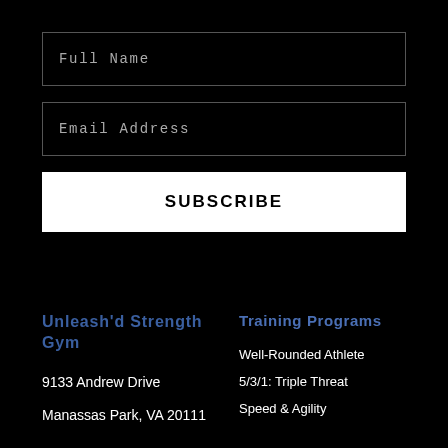Full Name
Email Address
SUBSCRIBE
Unleash'd Strength Gym
9133 Andrew Drive
Manassas Park, VA 20111
Training Programs
Well-Rounded Athlete
5/3/1: Triple Threat
Speed & Agility